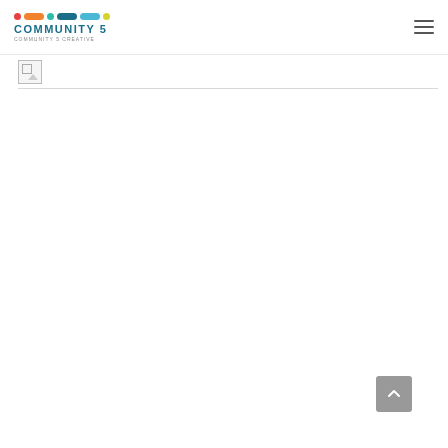COMMUNITY 5
[Figure (other): Broken image placeholder below the navigation bar, followed by a horizontal rule divider line.]
[Figure (other): Scroll-to-top button (grey rounded square with an upward chevron arrow) in the bottom-right corner.]